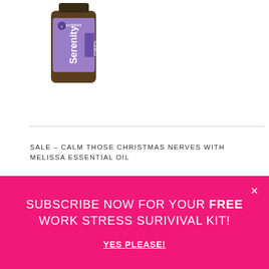[Figure (photo): doTERRA Serenity Restful Blend essential oil bottle, dark amber glass with purple label]
SALE – CALM THOSE CHRISTMAS NERVES WITH MELISSA ESSENTIAL OIL
[Figure (photo): Product card with dark navy badge showing doTERRA logo and 20% off discount, on light grey background]
SUBSCRIBE NOW FOR YOUR FREE WORK STRESS SURIVIVAL KIT!
YES PLEASE!